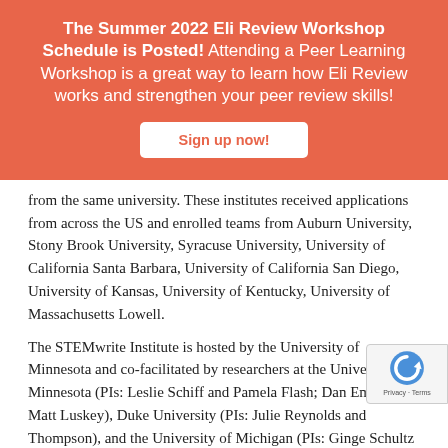The Summer 2022 Eli Review Workshop Schedule is Posted! Attending a Peer Learning Workshop is a great way to learn how Eli Review works and strengthen your peer review skills!
Sign up now!
from the same university. These institutes received applications from across the US and enrolled teams from Auburn University, Stony Brook University, Syracuse University, University of California Santa Barbara, University of California San Diego, University of Kansas, University of Kentucky, University of Massachusetts Lowell.
The STEMwrite Institute is hosted by the University of Minnesota and co-facilitated by researchers at the University of Minnesota (PIs: Leslie Schiff and Pamela Flash; Dan Emery, Matt Luskey), Duke University (PIs: Julie Reynolds and Thompson), and the University of Michigan (PIs: Ginge Schultz and Anne Gere). It is funded by a 5-year $2 million